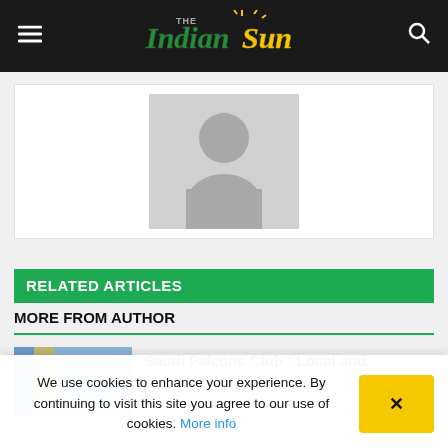The Indian Sun
[Figure (illustration): Default author placeholder image showing a generic silhouette person icon on a grey background]
RELATED ARTICLES
MORE FROM AUTHOR
[Figure (photo): Thumbnail image for article about Saudi Falcons Club]
Saudi Falcons Club : Local and
We use cookies to enhance your experience. By continuing to visit this site you agree to our use of cookies. More info